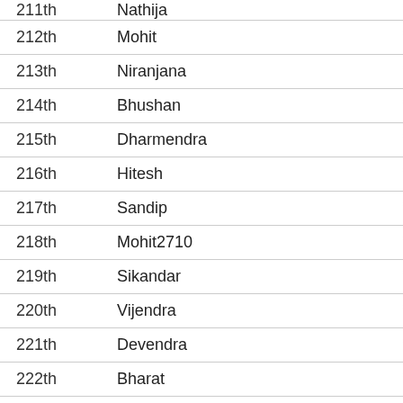| 211th | Nathija | ₹50 |
| 212th | Mohit | ₹50 |
| 213th | Niranjana | ₹50 |
| 214th | Bhushan | ₹50 |
| 215th | Dharmendra | ₹50 |
| 216th | Hitesh | ₹50 |
| 217th | Sandip | ₹50 |
| 218th | Mohit2710 | ₹50 |
| 219th | Sikandar | ₹50 |
| 220th | Vijendra | ₹50 |
| 221th | Devendra | ₹50 |
| 222th | Bharat | ₹50 |